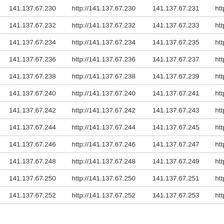| 141.137.67.230 | http://141.137.67.230 | 141.137.67.231 | http:// |
| 141.137.67.232 | http://141.137.67.232 | 141.137.67.233 | http:// |
| 141.137.67.234 | http://141.137.67.234 | 141.137.67.235 | http:// |
| 141.137.67.236 | http://141.137.67.236 | 141.137.67.237 | http:// |
| 141.137.67.238 | http://141.137.67.238 | 141.137.67.239 | http:// |
| 141.137.67.240 | http://141.137.67.240 | 141.137.67.241 | http:// |
| 141.137.67.242 | http://141.137.67.242 | 141.137.67.243 | http:// |
| 141.137.67.244 | http://141.137.67.244 | 141.137.67.245 | http:// |
| 141.137.67.246 | http://141.137.67.246 | 141.137.67.247 | http:// |
| 141.137.67.248 | http://141.137.67.248 | 141.137.67.249 | http:// |
| 141.137.67.250 | http://141.137.67.250 | 141.137.67.251 | http:// |
| 141.137.67.252 | http://141.137.67.252 | 141.137.67.253 | http:// |